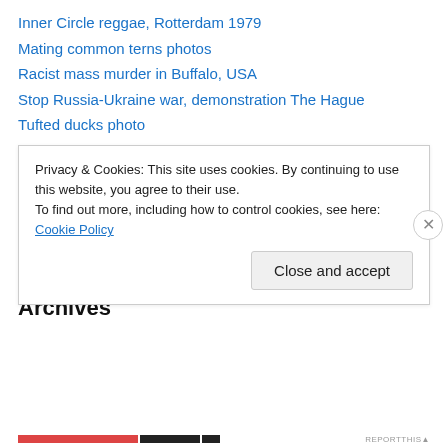Inner Circle reggae, Rotterdam 1979
Mating common terns photos
Racist mass murder in Buffalo, USA
Stop Russia-Ukraine war, demonstration The Hague
Tufted ducks photo
Categories
Select Category
Archives
Privacy & Cookies: This site uses cookies. By continuing to use this website, you agree to their use.
To find out more, including how to control cookies, see here: Cookie Policy
Close and accept